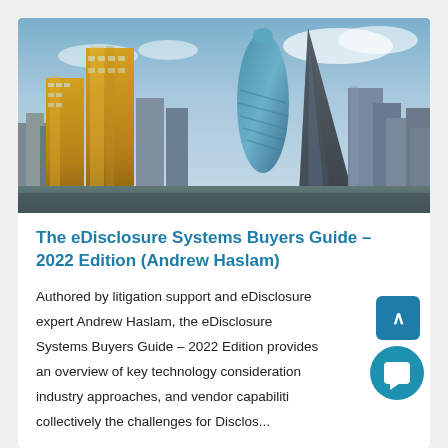[Figure (photo): Aerial photograph of the City of London skyline featuring iconic skyscrapers including the Gherkin and Leadenhall Building (Cheesegrater), with golden-lit buildings under a blue sky with clouds.]
The eDisclosure Systems Buyers Guide – 2022 Edition (Andrew Haslam)
Authored by litigation support and eDisclosure expert Andrew Haslam, the eDisclosure Systems Buyers Guide – 2022 Edition provides an overview of key technology considerations, industry approaches, and vendor capabilities collectively the challenges for Disclosure…